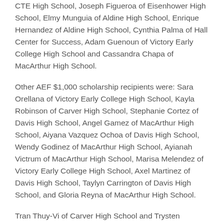CTE High School, Joseph Figueroa of Eisenhower High School, Elmy Munguia of Aldine High School, Enrique Hernandez of Aldine High School, Cynthia Palma of Hall Center for Success, Adam Guenoun of Victory Early College High School and Cassandra Chapa of MacArthur High School.
Other AEF $1,000 scholarship recipients were: Sara Orellana of Victory Early College High School, Kayla Robinson of Carver High School, Stephanie Cortez of Davis High School, Angel Gamez of MacArthur High School, Aiyana Vazquez Ochoa of Davis High School, Wendy Godinez of MacArthur High School, Ayianah Victrum of MacArthur High School, Marisa Melendez of Victory Early College High School, Axel Martinez of Davis High School, Taylyn Carrington of Davis High School, and Gloria Reyna of MacArthur High School.
Tran Thuy-Vi of Carver High School and Trysten Williams of Carver High School each received a $1,000 AEF Golf Tournament Scholarship, while Dalynn Davis of Davis High School received a $1,000 AEF Robert Ford Sr. ...